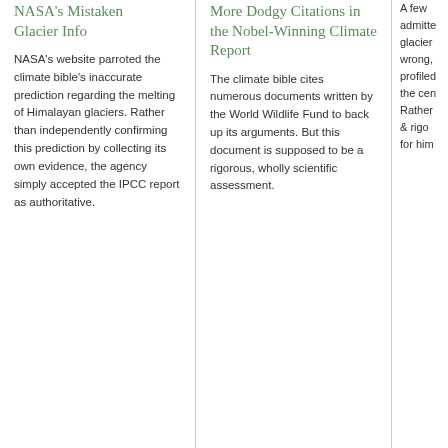NASA's Mistaken Glacier Info
NASA's website parroted the climate bible's inaccurate prediction regarding the melting of Himalayan glaciers. Rather than independently confirming this prediction by collecting its own evidence, the agency simply accepted the IPCC report as authoritative.
JANUARY 25, 2010
More Dodgy Citations in the Nobel-Winning Climate Report
The climate bible cites numerous documents written by the World Wildlife Fund to back up its arguments. But this document is supposed to be a rigorous, wholly scientific assessment.
JANUARY 23, 2010
A few … admitted… glacier… wrong,… profiled… the cen… Rather… & rigo… for him…
I am a participant in the Amazon Services LLC Associates Program, an affiliate advertising program
Catego
activist